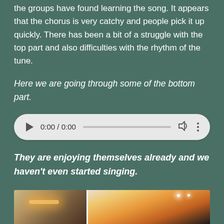the groups have found learning the song. It appears that the chorus is very catchy and people pick it up quickly. There has been a bit of a struggle with the top part and also difficulties with the rhythm of the tune.
Here we are going through some of the bottom part.
[Figure (other): Audio player widget showing 0:00 / 0:00 with play button, progress bar, volume icon, and options menu]
They are enjoying themselves already and we haven't even started singing.
[Figure (photo): Two photos side by side showing indoor scenes with lighting effects]